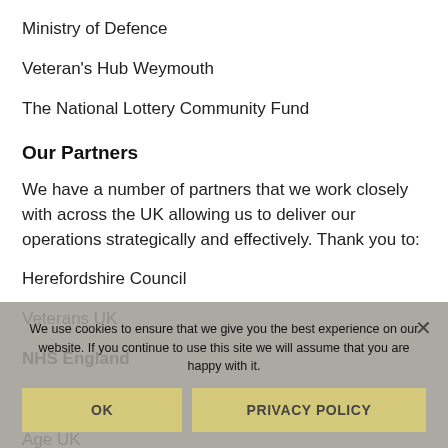Ministry of Defence
Veteran's Hub Weymouth
The National Lottery Community Fund
Our Partners
We have a number of partners that we work closely with across the UK allowing us to deliver our operations strategically and effectively. Thank you to:
Herefordshire Council
Veterans UK
NHS England
NHS Scotland
Age UK
We use cookies to ensure that we give you the best experience on our website. If you continue to use this site we will assume that you are happy with it.